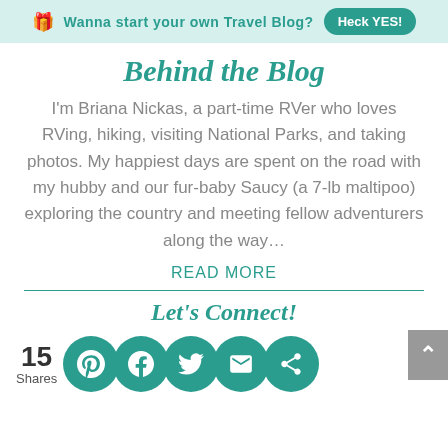Wanna start your own Travel Blog? Heck YES!
Behind the Blog
I'm Briana Nickas, a part-time RVer who loves RVing, hiking, visiting National Parks, and taking photos. My happiest days are spent on the road with my hubby and our fur-baby Saucy (a 7-lb maltipoo) exploring the country and meeting fellow adventurers along the way…
READ MORE
Let's Connect!
15 Shares